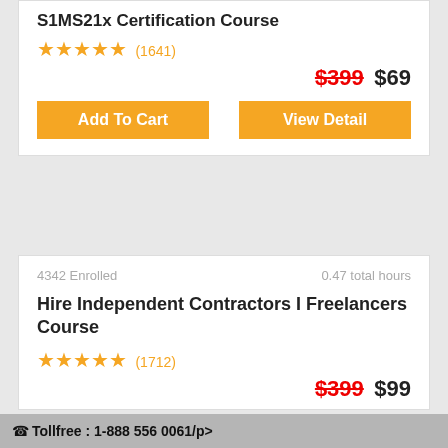S1MS21x Certification Course
★★★★★ (1641)
$399 $69
Add To Cart | View Detail
4342 Enrolled   0.47 total hours
Hire Independent Contractors I Freelancers Course
★★★★★ (1712)
$399 $99
Tollfree : 1-888 556 0061/p>